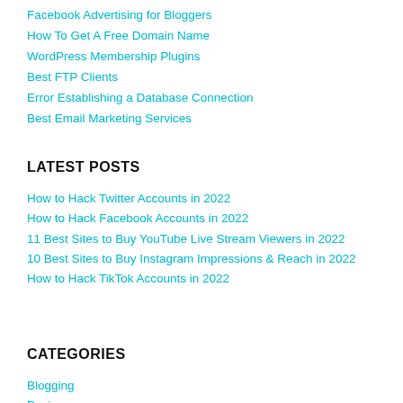Facebook Advertising for Bloggers
How To Get A Free Domain Name
WordPress Membership Plugins
Best FTP Clients
Error Establishing a Database Connection
Best Email Marketing Services
LATEST POSTS
How to Hack Twitter Accounts in 2022
How to Hack Facebook Accounts in 2022
11 Best Sites to Buy YouTube Live Stream Viewers in 2022
10 Best Sites to Buy Instagram Impressions & Reach in 2022
How to Hack TikTok Accounts in 2022
CATEGORIES
Blogging
Business